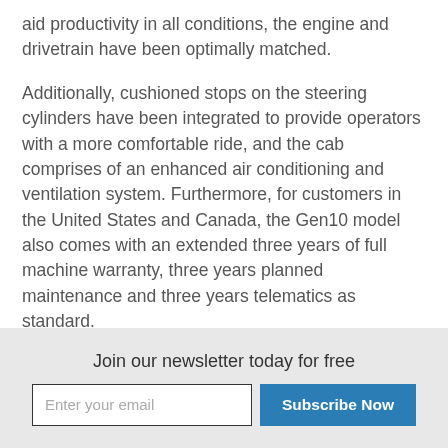aid productivity in all conditions, the engine and drivetrain have been optimally matched.
Additionally, cushioned stops on the steering cylinders have been integrated to provide operators with a more comfortable ride, and the cab comprises of an enhanced air conditioning and ventilation system. Furthermore, for customers in the United States and Canada, the Gen10 model also comes with an extended three years of full machine warranty, three years planned maintenance and three years telematics as standard.
Mahany said, "BECO is proud to be a Terex Trucks…
Join our newsletter today for free
Enter your email | Subscribe Now